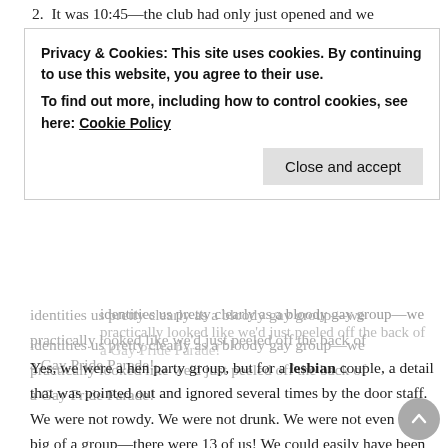2. It was 10:45—the club had only just opened and we
Privacy & Cookies: This site uses cookies. By continuing to use this website, you agree to their use.
To find out more, including how to control cookies, see here: Cookie Policy
Close and accept
identities us pretty clearly as a bloody gay group—we practically looked like we'd just peeled off the back of a Gay Pride Parade!
Yes, we were a hen party group, but for a lesbian couple, a detail that was pointed out and ignored several times by the door staff.
We were not rowdy. We were not drunk. We were not even that big of a group—there were 13 of us! We could easily have been a Birthday party group or friends that had been at an afternoon BBQ at a mate's house where a bunch of us